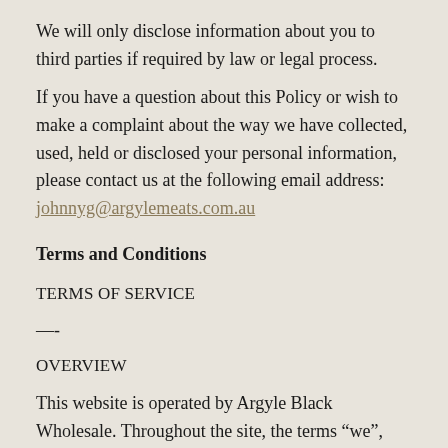We will only disclose information about you to third parties if required by law or legal process.
If you have a question about this Policy or wish to make a complaint about the way we have collected, used, held or disclosed your personal information, please contact us at the following email address: johnnyg@argylemeats.com.au
Terms and Conditions
TERMS OF SERVICE
—-
OVERVIEW
This website is operated by Argyle Black Wholesale. Throughout the site, the terms “we”, “us” and “our” refer to Argyle Black Wholesale. Argyle Black Wholesale offers this website, including all information, tools and services available from this site to